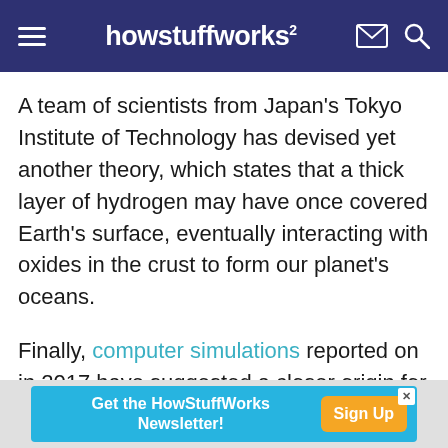howstuffworks
A team of scientists from Japan's Tokyo Institute of Technology has devised yet another theory, which states that a thick layer of hydrogen may have once covered Earth's surface, eventually interacting with oxides in the crust to form our planet's oceans.
Finally, computer simulations reported on in 2017 have suggested a closer origin for at least some water on our planet. The idea is that water could develop deep inside Earth's mantle and eventually escape via earthquakes.
[Figure (other): Advertisement banner: 'Get the HowStuffWorks Newsletter!' with a 'Sign Up' button in orange on a light blue background.]